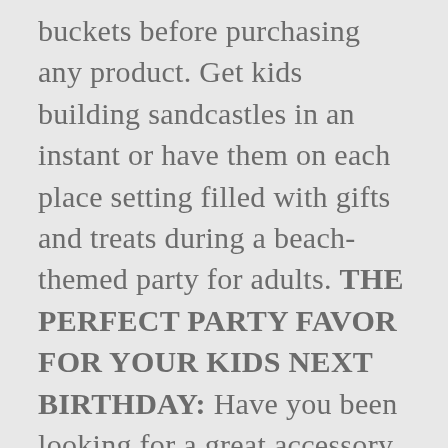buckets before purchasing any product. Get kids building sandcastles in an instant or have them on each place setting filled with gifts and treats during a beach-themed party for adults. THE PERFECT PARTY FAVOR FOR YOUR KIDS NEXT BIRTHDAY: Have you been looking for a great accessory for your toddlers next beach party? 2 ... 24x 7 inch Square Sand Fairy Tale Castle Bucket...Assorted. A fire bucket is a bucket filled with water or sand which is used to prevent or extinguish fires.. Set of 4 sand castle melds beach pail buckets, pink, yellow, blue, and green, 2 In 1, ideal beach pails for kids at the same time create beautiful castle